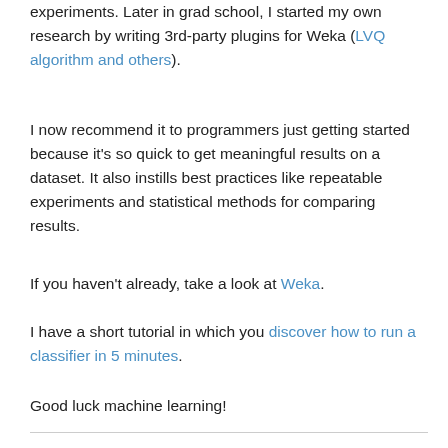experiments. Later in grad school, I started my own research by writing 3rd-party plugins for Weka (LVQ algorithm and others).
I now recommend it to programmers just getting started because it's so quick to get meaningful results on a dataset. It also instills best practices like repeatable experiments and statistical methods for comparing results.
If you haven't already, take a look at Weka.
I have a short tutorial in which you discover how to run a classifier in 5 minutes.
Good luck machine learning!
Discover Machine Learning Without The Code!